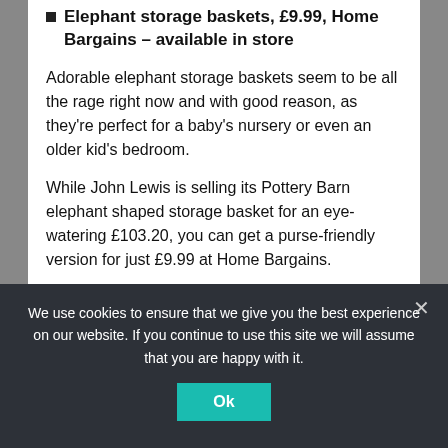Elephant storage baskets, £9.99, Home Bargains – available in store
Adorable elephant storage baskets seem to be all the rage right now and with good reason, as they're perfect for a baby's nursery or even an older kid's bedroom.
While John Lewis is selling its Pottery Barn elephant shaped storage basket for an eye-watering £103.20, you can get a purse-friendly version for just £9.99 at Home Bargains.
FABULOUS BINGO: GET A £5 FREE BONUS WITH NO DEPOSIT REQUIRED
We use cookies to ensure that we give you the best experience on our website. If you continue to use this site we will assume that you are happy with it.